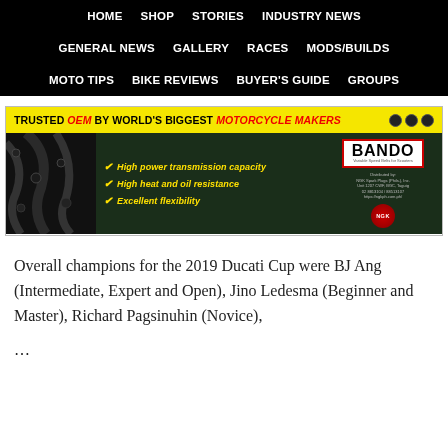HOME  SHOP  STORIES  INDUSTRY NEWS  GENERAL NEWS  GALLERY  RACES  MODS/BUILDS  MOTO TIPS  BIKE REVIEWS  BUYER'S GUIDE  GROUPS
[Figure (infographic): Bando brand advertisement banner. Yellow top strip reads: TRUSTED OEM BY WORLD'S BIGGEST MOTORCYCLE MAKERS. Body shows dark background with three checkmark features: High power transmission capacity, High heat and oil resistance, Excellent flexibility. Bando logo on right side with NGK distributor badge.]
Overall champions for the 2019 Ducati Cup were BJ Ang (Intermediate, Expert and Open), Jino Ledesma (Beginner and Master), Richard Pagsinuhin (Novice),
...